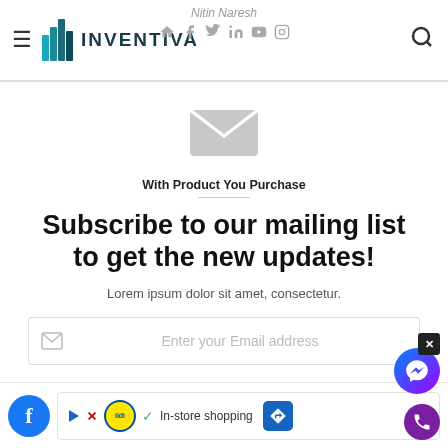INVENTIVA — Nitin Naresh
[Figure (illustration): Envelope/mail icon (gray) above newsletter subscription section]
With Product You Purchase
Subscribe to our mailing list to get the new updates!
Lorem ipsum dolor sit amet, consectetur.
Enter your Email address